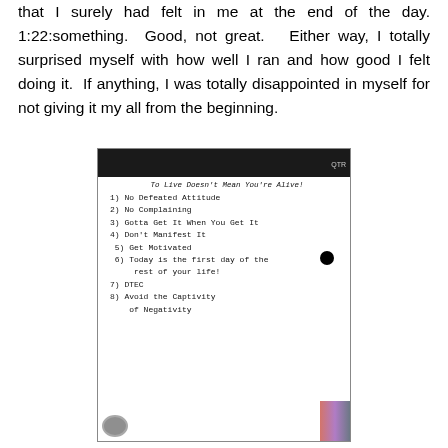that I surely had felt in me at the end of the day. 1:22:something. Good, not great. Either way, I totally surprised myself with how well I ran and how good I felt doing it. If anything, I was totally disappointed in myself for not giving it my all from the beginning.
[Figure (photo): Photo of a handwritten list on white paper. Title reads 'To Live Doesn't Mean You're Alive!' followed by numbered rules: 1) No Defeated Attitude, 2) No Complaining, 3) Gotta Get It When You Get It, 4) Don't Manifest It, 5) Get Motivated, 6) Today is the first day of the rest of your life!, 7) DTEC, 8) Avoid the Captivity of Negativity. A black dot is visible near item 2.]